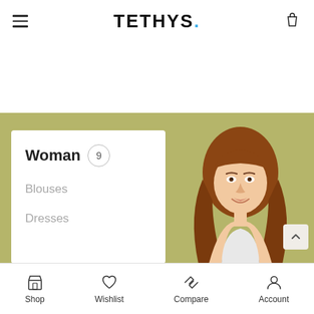TETHYS.
[Figure (photo): E-commerce mobile app screenshot showing a navigation menu with 'Woman' category expanded, showing subcategories 'Blouses' and 'Dresses', with a badge showing 9 items, and a photo of a young woman with long auburn hair on an olive/tan background.]
Shop  Wishlist  Compare  Account